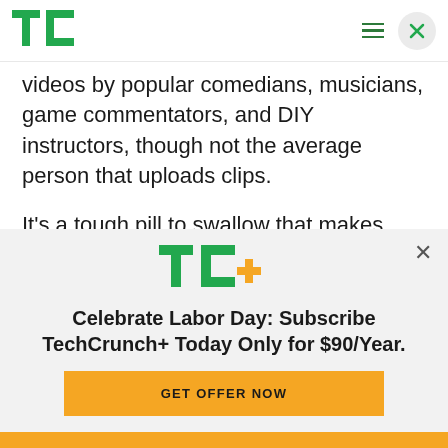TechCrunch logo and navigation
videos by popular comedians, musicians, game commentators, and DIY instructors, though not the average person that uploads clips.
It's a tough pill to swallow that makes YouTube look like a bully. Though turning existing fans into paid subscribers instead of free viewers could earn creators more than the ad revenue, forcing them
[Figure (logo): TechCrunch+ logo (TC+ in green and yellow)]
Celebrate Labor Day: Subscribe TechCrunch+ Today Only for $90/Year.
GET OFFER NOW